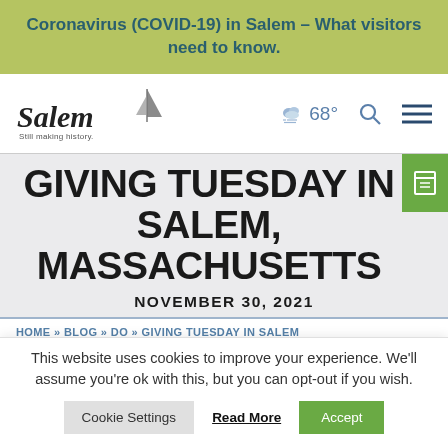Coronavirus (COVID-19) in Salem – What visitors need to know.
[Figure (logo): Salem 'Still making history' logo with sailboat graphic and navigation icons showing 68° weather, search, and hamburger menu]
GIVING TUESDAY IN SALEM, MASSACHUSETTS
NOVEMBER 30, 2021
HOME » BLOG » DO » GIVING TUESDAY IN SALEM
This website uses cookies to improve your experience. We'll assume you're ok with this, but you can opt-out if you wish.